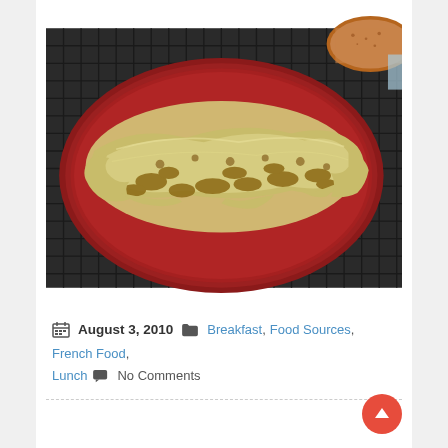[Figure (photo): A photo of an omelette or scrambled egg dish with mushrooms and other fillings on a dark red/maroon round plate, placed on a black metal grid table outdoors. Another round bread/grain item is partially visible at the top right.]
August 3, 2010  Breakfast, Food Sources, French Food, Lunch  No Comments